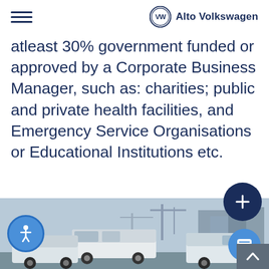Alto Volkswagen
atleast 30% government funded or approved by a Corporate Business Manager, such as: charities; public and private health facilities, and Emergency Service Organisations or Educational Institutions etc.
Enquire Now
[Figure (photo): White Volkswagen vans parked at a port/industrial area with cranes and buildings in the background]